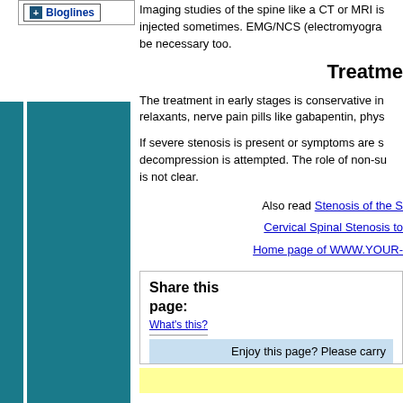[Figure (screenshot): Bloglines subscription button with plus icon]
Imaging studies of the spine like a CT or MRI is injected sometimes. EMG/NCS (electromyogra be necessary too.
Treatme
The treatment in early stages is conservative in relaxants, nerve pain pills like gabapentin, phys
If severe stenosis is present or symptoms are s decompression is attempted. The role of non-su is not clear.
Also read Stenosis of the S
Cervical Spinal Stenosis to
Home page of WWW.YOUR-
Share this page:
What's this?
Enjoy this page? Please carry